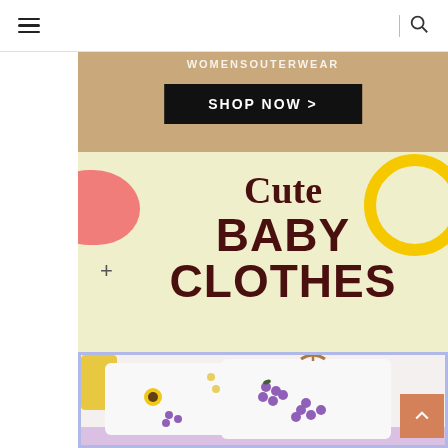Navigation bar with hamburger menu and search icon
[Figure (screenshot): Tan/brown banner with text 'WOMENSOUTERWEAR' and a black 'SHOP NOW >' button]
[Figure (infographic): Light yellow-green banner with colorful blobs, plus sign, and bold text 'Cute BABY CLOTHES' in dark maroon]
[Figure (photo): Photo of white baby knit sweaters with purple grape embellishments on a wooden hanger, with yellow and purple accents]
[Figure (other): Orange back-to-top arrow button in bottom right corner]